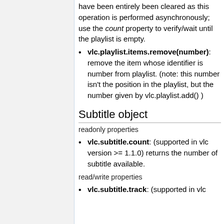have been entirely been cleared as this operation is performed asynchronously; use the count property to verify/wait until the playlist is empty.
vlc.playlist.items.remove(number): remove the item whose identifier is number from playlist. (note: this number isn't the position in the playlist, but the number given by vlc.playlist.add() )
Subtitle object
readonly properties
vlc.subtitle.count: (supported in vlc version >= 1.1.0) returns the number of subtitle available.
read/write properties
vlc.subtitle.track: (supported in vlc